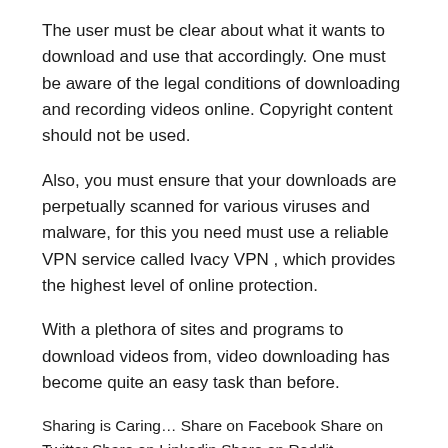The user must be clear about what it wants to download and use that accordingly. One must be aware of the legal conditions of downloading and recording videos online. Copyright content should not be used.
Also, you must ensure that your downloads are perpetually scanned for various viruses and malware, for this you need must use a reliable VPN service called Ivacy VPN , which provides the highest level of online protection.
With a plethora of sites and programs to download videos from, video downloading has become quite an easy task than before.
Sharing is Caring… Share on Facebook Share on Twitter Share on Linkedin Share on Reddit
HOW TO SCHEDULE GMAIL EMAILS ON PC